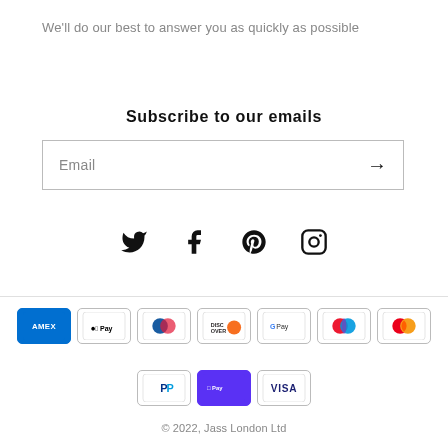We'll do our best to answer you as quickly as possible
Subscribe to our emails
Email →
[Figure (infographic): Row of social media icons: Twitter, Facebook, Pinterest, Instagram]
[Figure (infographic): Payment method icons: Amex, Apple Pay, Diners Club, Discover, Google Pay, Maestro, Mastercard, PayPal, Shop Pay, Visa]
© 2022, Jass London Ltd